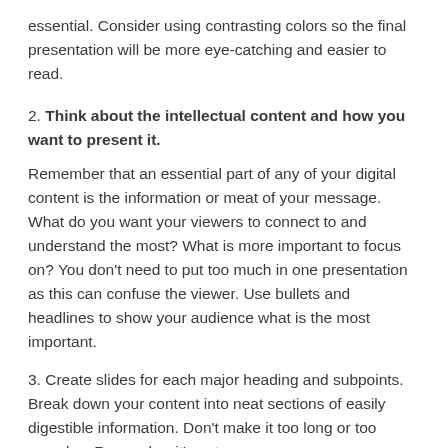essential. Consider using contrasting colors so the final presentation will be more eye-catching and easier to read.
2. Think about the intellectual content and how you want to present it.
Remember that an essential part of any of your digital content is the information or meat of your message. What do you want your viewers to connect to and understand the most? What is more important to focus on? You don’t need to put too much in one presentation as this can confuse the viewer. Use bullets and headlines to show your audience what is the most important.
3. Create slides for each major heading and subpoints. Break down your content into neat sections of easily digestible information. Don’t make it too long or too complex. Remember it’s not a